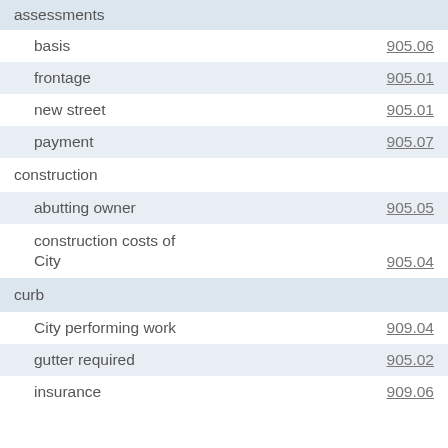assessments
basis  905.06
frontage  905.01
new street  905.01
payment  905.07
construction
abutting owner  905.05
construction costs of City  905.04
curb
City performing work  909.04
gutter required  905.02
insurance  909.06